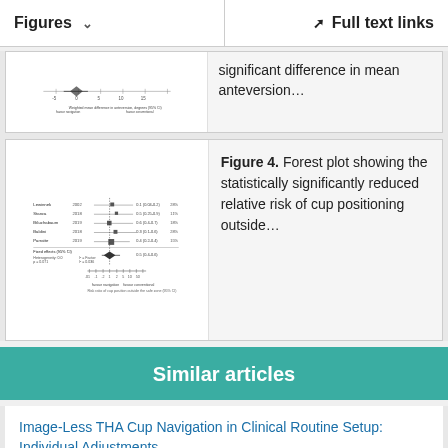Figures   Full text links
[Figure (other): Partial forest plot figure card (top, cropped)]
significant difference in mean anteversion…
[Figure (other): Forest plot showing relative risk of cup positioning outside the safe zone (95% CI), favor navigation vs favor conventional]
Figure 4. Forest plot showing the statistically significantly reduced relative risk of cup positioning outside…
Similar articles
Image-Less THA Cup Navigation in Clinical Routine Setup: Individual Adjustments